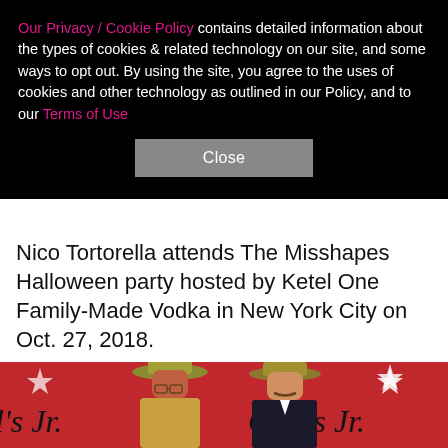Our Privacy / Cookie Policy contains detailed information about the types of cookies & related technology on our site, and some ways to opt out. By using the site, you agree to the uses of cookies and other technology as outlined in our Policy, and to our Terms of Use
Close
Nico Tortorella attends The Misshapes Halloween party hosted by Ketel One Family-Made Vodka in New York City on Oct. 27, 2018.
[Figure (photo): Two people posing at a Carl's Jr. branded red carpet event. Both wear wide-brimmed hats and 1970s-style costumes. The person on the left has red hair and glasses; the person on the right has a mustache.]